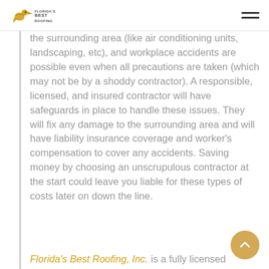Florida's Best Roofing
the surrounding area (like air conditioning units, landscaping, etc), and workplace accidents are possible even when all precautions are taken (which may not be by a shoddy contractor). A responsible, licensed, and insured contractor will have safeguards in place to handle these issues. They will fix any damage to the surrounding area and will have liability insurance coverage and worker's compensation to cover any accidents. Saving money by choosing an unscrupulous contractor at the start could leave you liable for these types of costs later on down the line.
Florida's Best Roofing, Inc. is a fully licensed